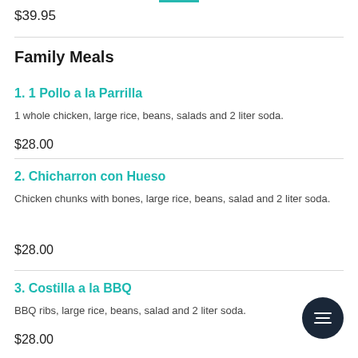$39.95
Family Meals
1. 1 Pollo a la Parrilla
1 whole chicken, large rice, beans, salads and 2 liter soda.
$28.00
2. Chicharron con Hueso
Chicken chunks with bones, large rice, beans, salad and 2 liter soda.
$28.00
3. Costilla a la BBQ
BBQ ribs, large rice, beans, salad and 2 liter soda.
$28.00